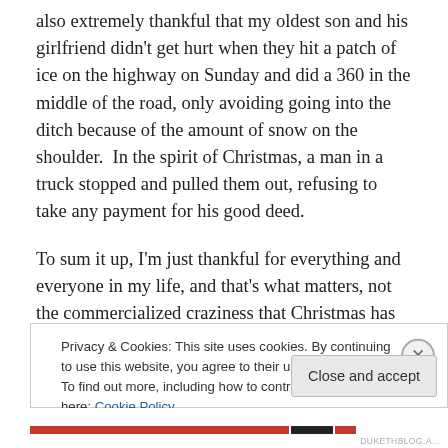also extremely thankful that my oldest son and his girlfriend didn't get hurt when they hit a patch of ice on the highway on Sunday and did a 360 in the middle of the road, only avoiding going into the ditch because of the amount of snow on the shoulder.  In the spirit of Christmas, a man in a truck stopped and pulled them out, refusing to take any payment for his good deed.
To sum it up, I'm just thankful for everything and everyone in my life, and that's what matters, not the commercialized craziness that Christmas has become.  So, hug your loved
Privacy & Cookies: This site uses cookies. By continuing to use this website, you agree to their use.
To find out more, including how to control cookies, see here: Cookie Policy